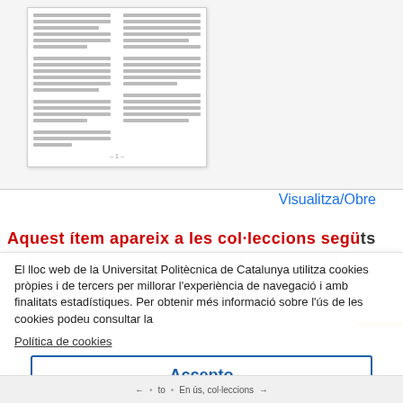[Figure (screenshot): Thumbnail preview of a document page showing two columns of small text with bibliography/reference content.]
Visualitza/Obre
Aquest ítem apareix a les col·leccions segü...ts
El lloc web de la Universitat Politècnica de Catalunya utilitza cookies pròpies i de tercers per millorar l'experiència de navegació i amb finalitats estadístiques. Per obtenir més informació sobre l'ús de les cookies podeu consultar la
Política de cookies
Accepto